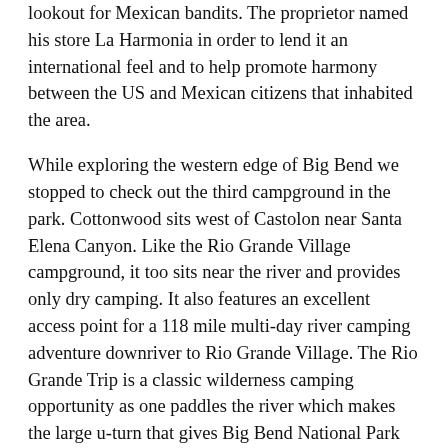lookout for Mexican bandits.  The proprietor named his store La Harmonia in order to lend it an international feel and to help promote harmony between the US and Mexican citizens that inhabited the area.
While exploring the western edge of Big Bend we stopped to check out the third campground in the park.  Cottonwood sits west of Castolon near Santa Elena Canyon.  Like the Rio Grande Village campground, it too sits near the river and provides only dry camping.  It also features an excellent access point for a 118 mile multi-day river camping adventure downriver to Rio Grande Village.  The Rio Grande Trip is a classic wilderness camping opportunity as one paddles the river which makes the large u-turn that gives Big Bend National Park its name.
The Rio Grande's source is the Colorado River, which is a mere trickle by the time it makes its way to the border and Mexico's Rio Concho which provides the majority of the rivers flow.  Like other rivers, the Rio Grande has carved deep canyons over the